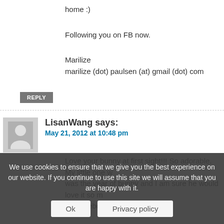home :)
Following you on FB now.
Marilize
marilize (dot) paulsen (at) gmail (dot) com
REPLY
LisanWang says:
May 21, 2012 at 10:48 pm
Love your bunny at first sight!!! So adorable. My little one w... was the year of bunny and I am sure he would love it so m... on Facebook
REPLY
Sissy says:
We use cookies to ensure that we give you the best experience on our website. If you continue to use this site we will assume that you are happy with it.
Ok
Privacy policy